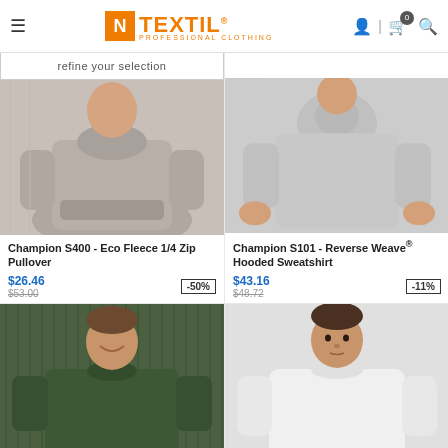N TEXTIL - Professional Clothing
refine your selection
[Figure (photo): Man wearing a light grey/mauve Champion S400 Eco Fleece 1/4 Zip Pullover sweatshirt, hands in front pocket]
Champion S400 - Eco Fleece 1/4 Zip Pullover
$26.46  -50%  $53.00
[Figure (photo): Man wearing a light grey Champion S101 Reverse Weave Hooded Sweatshirt, hands in pockets]
Champion S101 - Reverse Weave® Hooded Sweatshirt
$43.16  -11%  $48.72
[Figure (photo): Man smiling wearing a dark green sweatshirt, looking down]
[Figure (photo): Man wearing a white crewneck sweatshirt, facing forward]